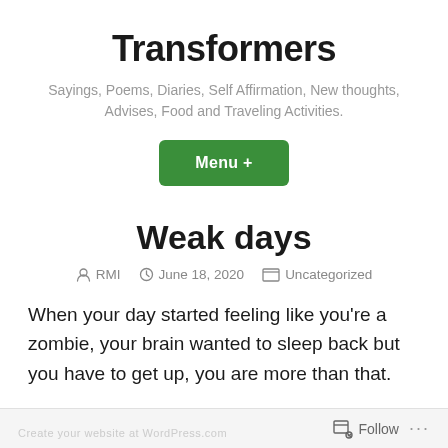Transformers
Sayings, Poems, Diaries, Self Affirmation, New thoughts, Advises, Food and Traveling Activities.
Menu +
Weak days
RMI  June 18, 2020  Uncategorized
When your day started feeling like you're a zombie, your brain wanted to sleep back but you have to get up, you are more than that.
Follow ...